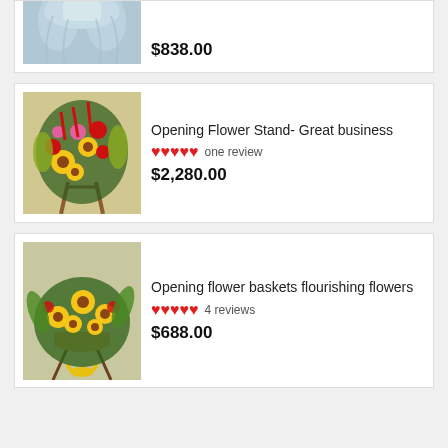[Figure (photo): Flower arrangement with blue/white tulle bow, partial view at top of page]
$838.00
[Figure (photo): Opening Flower Stand with colorful flowers including sunflowers, red, pink and yellow blooms on a wooden stand]
Opening Flower Stand- Great business
♥♥♥♥♥ one review
$2,280.00
[Figure (photo): Opening flower baskets with sunflowers and mixed flowers on a stand with yellow ribbon]
Opening flower baskets flourishing flowers
♥♥♥♥♥ 4 reviews
$688.00